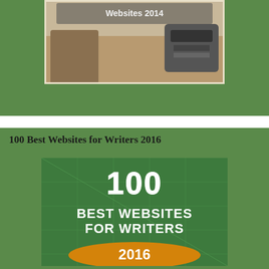[Figure (photo): Top green banner section with a photo of a desk/typewriter scene and partial text at the top]
100 Best Websites for Writers 2016
[Figure (illustration): Book cover image showing '100 BEST WEBSITES FOR WRITERS 2016' on a green grid background with orange ribbon at the bottom]